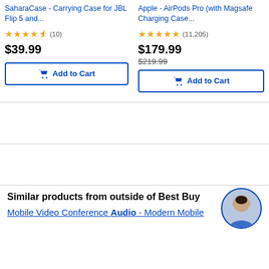SaharaCase - Carrying Case for JBL Flip 5 and...
★★★★½ (10)
$39.99
Add to Cart
Apple - AirPods Pro (with Magsafe Charging Case...
★★★★★ (11,205)
$179.99
$219.99
Add to Cart
Similar products from outside of Best Buy
Mobile Video Conference Audio - Modern Mobile